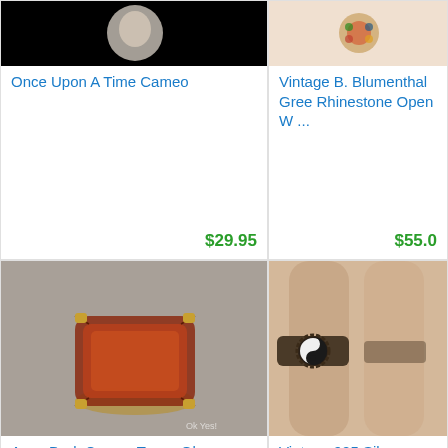[Figure (photo): Once Upon A Time Cameo ring product photo (partial, white/black background)]
Once Upon A Time Cameo
$29.95
[Figure (photo): Vintage B. Blumenthal Green Rhinestone Open W... ring product photo (partial)]
Vintage B. Blumenthal Gree Rhinestone Open W ...
$55.0
[Figure (photo): Avon Dark Cognac Topaz Glass Fashion Ring - amber/red gemstone in gold setting on grey background, watermark Ok Yes!]
Avon Dark CognacTopaz Glass Fashion Ring
$20.00
[Figure (photo): Vintage 925 Silver Filigree Yin Yang Ring Chi ... - yin yang ring on finger, close up]
Vintage 925 Silver Filigree Y Yang Ring Chi ...
$25.0
[Figure (photo): Gothic bat/dragon ring with green stone and female figure, silver tone on black background]
[Figure (photo): Ring with decorative stone on light purple background (partial)]